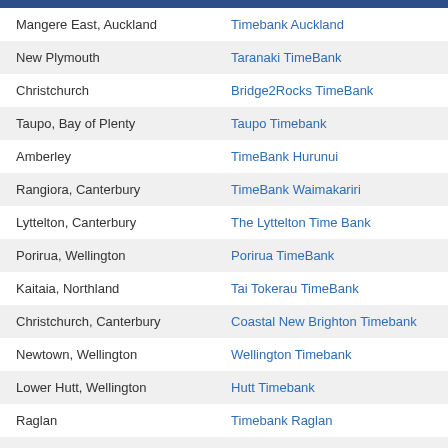| Location | TimeBank Name |
| --- | --- |
| Mangere East, Auckland | Timebank Auckland |
| New Plymouth | Taranaki TimeBank |
| Christchurch | Bridge2Rocks TimeBank |
| Taupo, Bay of Plenty | Taupo Timebank |
| Amberley | TimeBank Hurunui |
| Rangiora, Canterbury | TimeBank Waimakariri |
| Lyttelton, Canterbury | The Lyttelton Time Bank |
| Porirua, Wellington | Porirua TimeBank |
| Kaitaia, Northland | Tai Tokerau TimeBank |
| Christchurch, Canterbury | Coastal New Brighton Timebank |
| Newtown, Wellington | Wellington Timebank |
| Lower Hutt, Wellington | Hutt Timebank |
| Raglan | Timebank Raglan |
| Christchurch, Canterbury | Addington TimeBank |
| Hamilton | Waikato Time Bank |